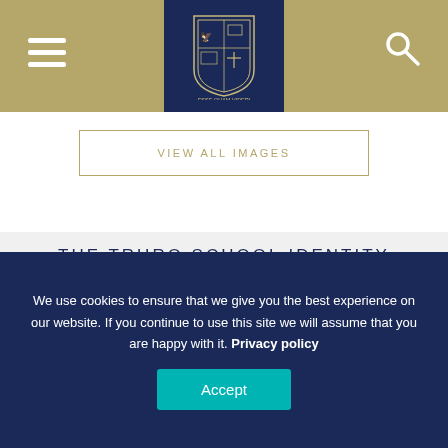Truro School navigation header with logo, hamburger menu, and search icon
VIEW ALL IMAGES
THE TRURO SCHOOL IDENTITY
Our school motto, Esse Quam Videri (to be, rather than to seem to be), captures the essence of our identity and is defined by the 5 C's below. Underpinned by strong Christian principles, we are a caring and inclusive community which values, nurtures and develops each individual.
Click on the links below to find out more.
We use cookies to ensure that we give you the best experience on our website. If you continue to use this site we will assume that you are happy with it. Privacy policy
Accept